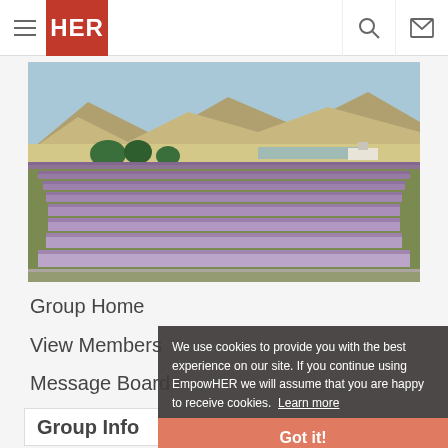HER — navigation bar with hamburger menu, HER logo, search icon, mail icon
[Figure (photo): Aerial/landscape photo of lavender fields with rows of purple lavender plants, mountains and blue sky in background]
Group Home
View Members
Message Board
Group Info
We use cookies to provide you with the best experience on our site. If you continue using EmpowHER we will assume that you are happy to receive cookies. Learn more
Got it!